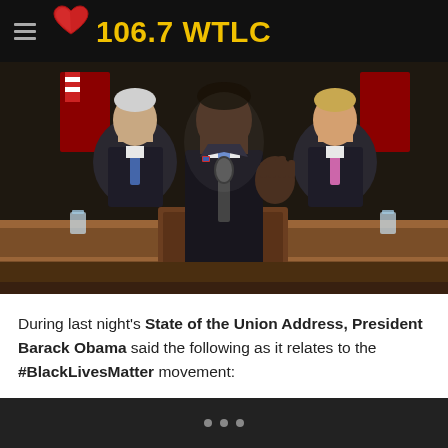106.7 WTLC
[Figure (photo): President Barack Obama speaking at a podium during the State of the Union Address, with Vice President Joe Biden and Speaker John Boehner seated behind him.]
During last night's State of the Union Address, President Barack Obama said the following as it relates to the #BlackLivesMatter movement: